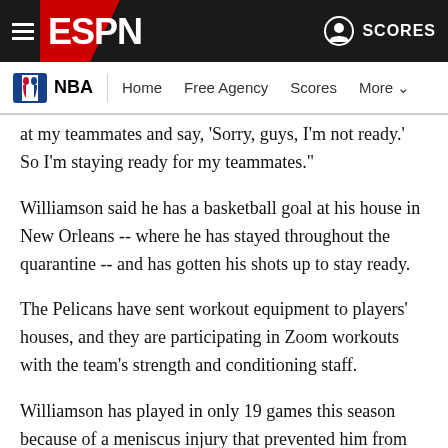ESPN - NBA | Home  Free Agency  Scores  More
at my teammates and say, 'Sorry, guys, I'm not ready.' So I'm staying ready for my teammates."
Williamson said he has a basketball goal at his house in New Orleans -- where he has stayed throughout the quarantine -- and has gotten his shots up to stay ready.
The Pelicans have sent workout equipment to players' houses, and they are participating in Zoom workouts with the team's strength and conditioning staff.
Williamson has played in only 19 games this season because of a meniscus injury that prevented him from making his NBA debut until Jan. 22. He said he looks at the stoppage of the season from two different perspectives.